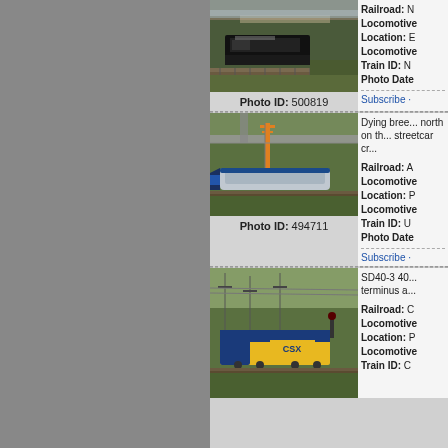[Figure (photo): Norfolk Southern locomotive on tracks, Photo ID 500819]
Photo ID: 500819
Railroad: N
Locomotive:
Location: E
Locomotive:
Train ID: N
Photo Date:
Subscribe ·
[Figure (photo): Amtrak high-speed train passing under bridge, Photo ID 494711]
Photo ID: 494711
Dying bree... north on th... streetcar cr...
Railroad: A
Locomotive:
Location: P
Locomotive:
Train ID: U
Photo Date:
Subscribe ·
[Figure (photo): CSX SD40-3 locomotive at terminus, partial view]
SD40-3 40... terminus a...
Railroad: C
Locomotive:
Location: P
Locomotive:
Train ID: C